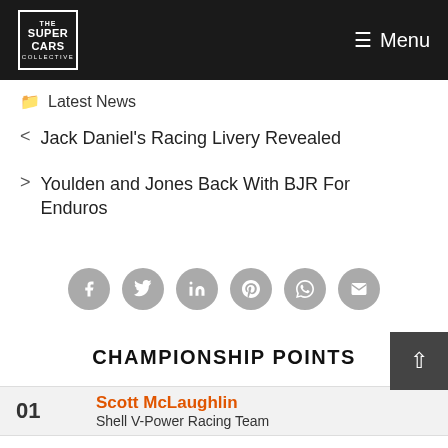The SuperCars Collective — Menu
Latest News
Jack Daniel's Racing Livery Revealed
Youlden and Jones Back With BJR For Enduros
[Figure (infographic): Social share icons: Facebook, Twitter, LinkedIn, Pinterest, WhatsApp, Email]
CHAMPIONSHIP POINTS
| # | Driver | Team | Points |
| --- | --- | --- | --- |
| 01 | Scott McLaughlin | Shell V-Power Racing Team |  |
| 02 | Shane van Gisbergen |  | 3073 |